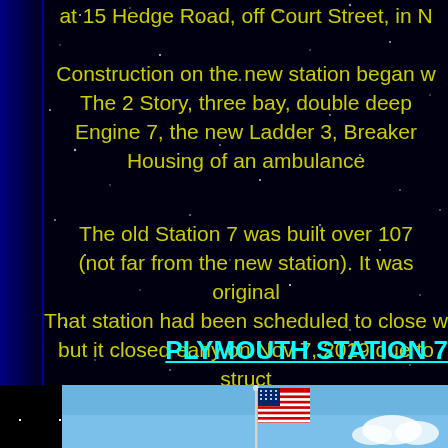at 15 Hedge Road, off Court Street, in N
Construction on the new station began w. The 2 Story, three bay, double deep. Engine 7, the new Ladder 3, Breaker. Housing of an ambulance
The old Station 7 was built over 107 (not far from the new station). It was original. That station had been scheduled to close w. but it closed early on Nov 7, 2019 due to struct. Apparatus was relocated temporarily.
PLYMOUTH STATION 7
[Figure (photo): American flag on a pole against a blue sky with clouds]